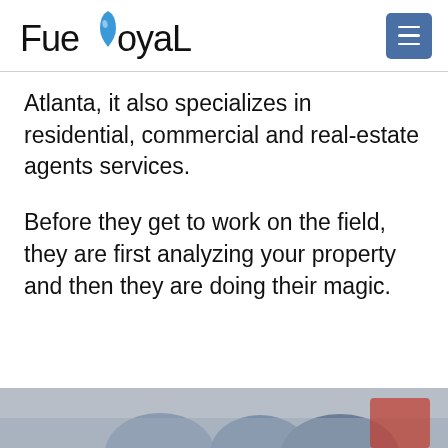FueLoyaL
Atlanta, it also specializes in residential, commercial and real-estate agents services.
Before they get to work on the field, they are first analyzing your property and then they are doing their magic.
[Figure (photo): Partial photo of people at the bottom of the page]